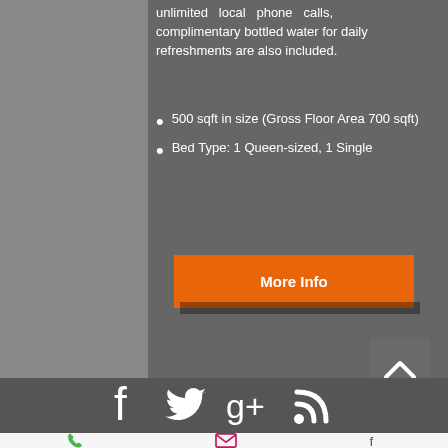unlimited local phone calls, complimentary bottled water for daily refreshments are also included.
500 sqft in size (Gross Floor Area 700 sqft)
Bed Type: 1 Queen-sized, 1 Single
[Figure (screenshot): Orange 'More Info' button]
[Figure (screenshot): Footer with social media icons: Facebook, Twitter, Google+, RSS feed in white on dark gray background; back-to-top arrow button on right. Bottom bar with phone, email, and Facebook icons.]